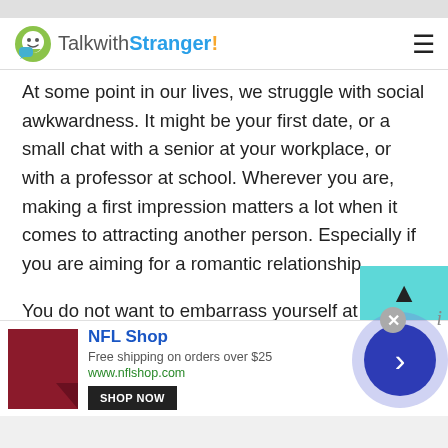TalkwithStranger!
At some point in our lives, we struggle with social awkwardness. It might be your first date, or a small chat with a senior at your workplace, or with a professor at school. Wherever you are, making a first impression matters a lot when it comes to attracting another person. Especially if you are aiming for a romantic relationship.
You do not want to embarrass yourself at the interview for a new job. You might be thinking, “Been there, done that!” But not anymore! The random stranger chat at the Talkwithstranger site, you can work on your social skills.
[Figure (screenshot): NFL Shop advertisement banner with product image, shop now button, and next navigation button]